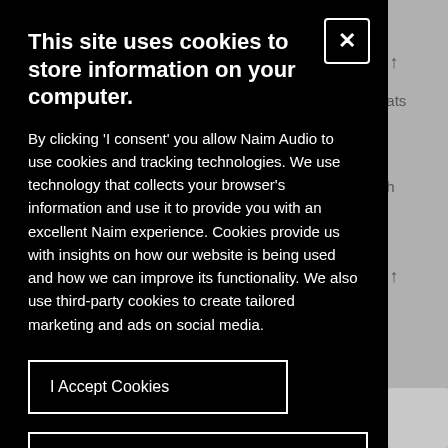[Figure (screenshot): Cookie consent modal dialog on a dark black background overlaying a gray website. Contains a title, body text, close button (X), and two buttons: 'I Accept Cookies' and 'I Do Not Accept Cookies'.]
This site uses cookies to store information on your computer.
By clicking 'I consent' you allow Naim Audio to use cookies and tracking technologies. We use technology that collects your browser's information and use it to provide you with an excellent Naim experience. Cookies provide us with insights on how our website is being used and how we can improve its functionality. We also use third-party cookies to create tailored marketing and ads on social media.
I Accept Cookies
I Do Not Accept Cookies